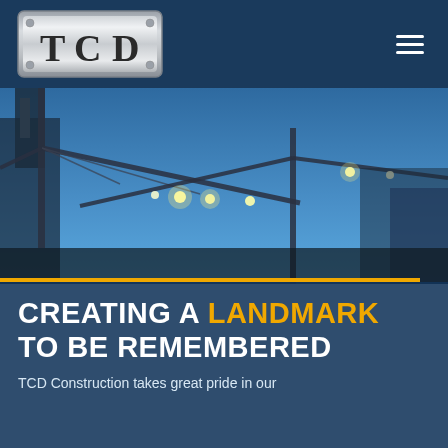[Figure (logo): TCD logo — metallic silver plate with letters T, C, D in bold serif font on dark blue background]
[Figure (photo): Construction cranes silhouetted against a blue sky at dusk, with lights illuminating the crane arms crossing in an X pattern, and buildings visible in background]
CREATING A LANDMARK TO BE REMEMBERED
TCD Construction takes great pride in our